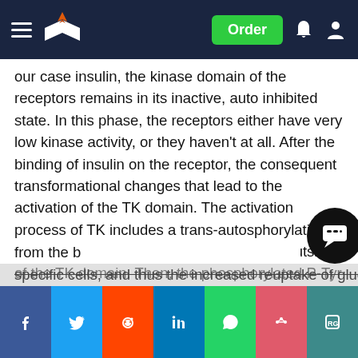Navigation bar with logo, Order button, notification and account icons
our case insulin, the kinase domain of the receptors remains in its inactive, auto inhibited state. In this phase, the receptors either have very low kinase activity, or they haven't at all. After the binding of insulin on the receptor, the consequent transformational changes that lead to the activation of the TK domain. The activation process of TK includes a trans-autosphorylation of tyrosine residues at segments inside and outside of the TK domain. Then, the phosphorylated P-Tyr which is formed at the site of receptor, becomes a docking region for proteins that harbor phosphorylated tyrosine specific domains. Such proteins are SH2, phosphotyrosine-binding (PTB) and C2 .This signaling eventually leads to an increase of the number of glucose transporter 4 in the outer membrane of specific cells, and thus the increased reuptake of glucose from the blood (Wilcox, 2005).
Social share bar: Facebook, Twitter, Reddit, LinkedIn, WhatsApp, Mendeley, ResearchGate